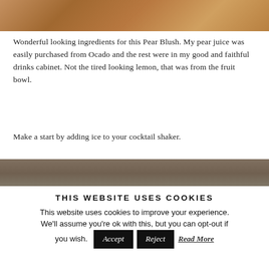[Figure (photo): Partial view of cocktail ingredients on a wooden board, cropped at top of page showing warm brown tones]
Wonderful looking ingredients for this Pear Blush. My pear juice was easily purchased from Ocado and the rest were in my good and faithful drinks cabinet. Not the tired looking lemon, that was from the fruit bowl.
Make a start by adding ice to your cocktail shaker.
[Figure (photo): Partial view of a wooden surface, cropped showing grey-brown tones, bottom portion of cocktail step photo]
THIS WEBSITE USES COOKIES
This website uses cookies to improve your experience. We'll assume you're ok with this, but you can opt-out if you wish.
Accept   Reject   Read More